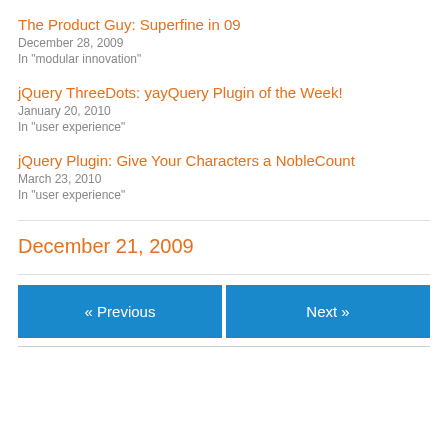The Product Guy: Superfine in 09
December 28, 2009
In "modular innovation"
jQuery ThreeDots: yayQuery Plugin of the Week!
January 20, 2010
In "user experience"
jQuery Plugin: Give Your Characters a NobleCount
March 23, 2010
In "user experience"
December 21, 2009
« Previous
Next »